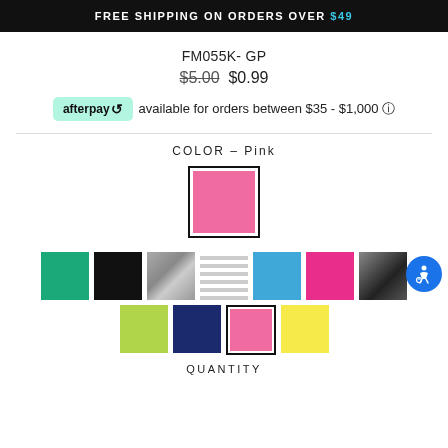FREE SHIPPING ON ORDERS OVER $49
FM055K- GP
$5.00  $0.99
afterpay  available for orders between $35 - $1,000
COLOR – Pink
[Figure (other): Selected pink color swatch with black border]
[Figure (other): Color swatches grid: teal, black, grey pattern, stripes, blue, hot pink, dark navy pattern, lime green, navy, pink (selected), yellow]
QUANTITY